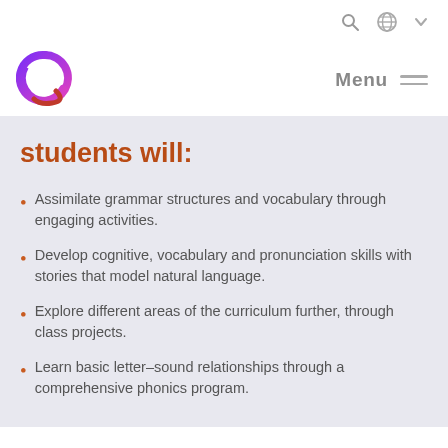[Figure (logo): Q-shaped logo with purple-to-pink gradient, with a red/orange swoosh tail at bottom right]
Menu
students will:
Assimilate grammar structures and vocabulary through engaging activities.
Develop cognitive, vocabulary and pronunciation skills with stories that model natural language.
Explore different areas of the curriculum further, through class projects.
Learn basic letter–sound relationships through a comprehensive phonics program.